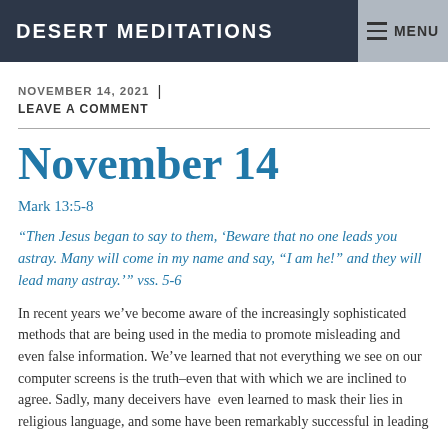DESERT MEDITATIONS | MENU
NOVEMBER 14, 2021
LEAVE A COMMENT
November 14
Mark 13:5-8
“Then Jesus began to say to them, ‘Beware that no one leads you astray. Many will come in my name and say, “I am he!” and they will lead many astray.’” vss. 5-6
In recent years we’ve become aware of the increasingly sophisticated methods that are being used in the media to promote misleading and even false information. We’ve learned that not everything we see on our computer screens is the truth–even that with which we are inclined to agree. Sadly, many deceivers have  even learned to mask their lies in religious language, and some have been remarkably successful in leading